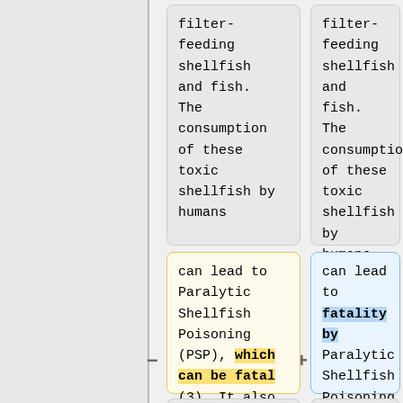[Figure (infographic): Two-column comparison of text snippets. Left column shows original text in gray and yellow cards with minus sign. Right column shows modified text in gray and blue cards with plus sign. Content discusses filter-feeding shellfish and fish consumption leading to Paralytic Shellfish Poisoning (PSP).]
filter-feeding shellfish and fish. The consumption of these toxic shellfish by humans
filter-feeding shellfish and fish. The consumption of these toxic shellfish by humans
can lead to Paralytic Shellfish Poisoning (PSP), which can be fatal (3). It also leads
can lead to fatality by Paralytic Shellfish Poisoning (PSP) (3). It also leads
to the shut down of
to the shut down of